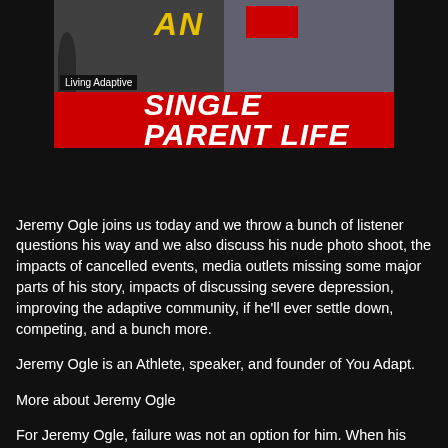[Figure (screenshot): Thumbnail image for a podcast/video titled 'Living Adaptive SINGLE PARENT LIFE' with two people visible and a red banner with bold white italic text]
Jeremy Ogle joins us today and we throw a bunch of listener questions his way and we also discuss his nude photo shoot, the impacts of cancelled events, media outlets missing some major parts of his story, impacts of discussing severe depression, improving the adaptive community, if he'll ever settle down, competing, and a bunch more.
Jeremy Ogle is an Athlete, speaker, and founder of You Adapt.
More about Jeremy Ogle
For Jeremy Ogle, failure was not an option for him. When his daughter came along and once she was placed in his arm all his fears went away. Jeremy knew he had to be strong for her and himself.